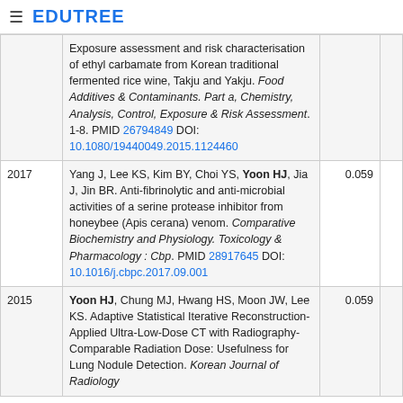≡ EDUTREE
| Year | Reference | Score |  |
| --- | --- | --- | --- |
|  | Exposure assessment and risk characterisation of ethyl carbamate from Korean traditional fermented rice wine, Takju and Yakju. Food Additives & Contaminants. Part a, Chemistry, Analysis, Control, Exposure & Risk Assessment. 1-8. PMID 26794849 DOI: 10.1080/19440049.2015.1124460 |  |  |
| 2017 | Yang J, Lee KS, Kim BY, Choi YS, Yoon HJ, Jia J, Jin BR. Anti-fibrinolytic and anti-microbial activities of a serine protease inhibitor from honeybee (Apis cerana) venom. Comparative Biochemistry and Physiology. Toxicology & Pharmacology : Cbp. PMID 28917645 DOI: 10.1016/j.cbpc.2017.09.001 | 0.059 |  |
| 2015 | Yoon HJ, Chung MJ, Hwang HS, Moon JW, Lee KS. Adaptive Statistical Iterative Reconstruction-Applied Ultra-Low-Dose CT with Radiography-Comparable Radiation Dose: Usefulness for Lung Nodule Detection. Korean Journal of Radiology. | 0.059 |  |